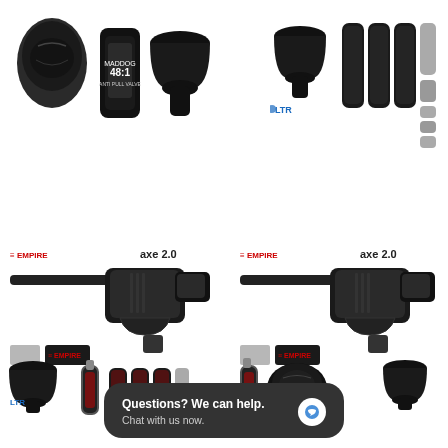[Figure (photo): Paintball equipment set top-left: dark mask/helmet, tank/air canister with 48:1 label, black hopper]
[Figure (photo): Paintball equipment set top-right: black hopper, LTR logo, three dark pod carriers, four grey pods]
[Figure (photo): Paintball marker package bottom-left: Empire Axe 2.0 marker in dark/graphite finish, Empire logo, accessories including LTR hopper, HPA tank, pod pack, pods]
[Figure (photo): Paintball marker package bottom-right: Empire Axe 2.0 marker in dark finish, Empire logo, HPA tank, dark mask, black hopper]
Questions? We can help.
Chat with us now.